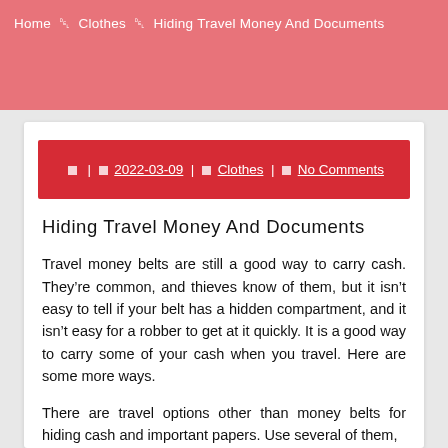Home » Clothes » Hiding Travel Money And Documents
□ | □ 2022-03-09 | □ Clothes | □ No Comments
Hiding Travel Money And Documents
Travel money belts are still a good way to carry cash. They’re common, and thieves know of them, but it isn’t easy to tell if your belt has a hidden compartment, and it isn’t easy for a robber to get at it quickly. It is a good way to carry some of your cash when you travel. Here are some more ways.
There are travel options other than money belts for hiding cash and important papers. Use several of them, rather than putting everything in one place. Do they...